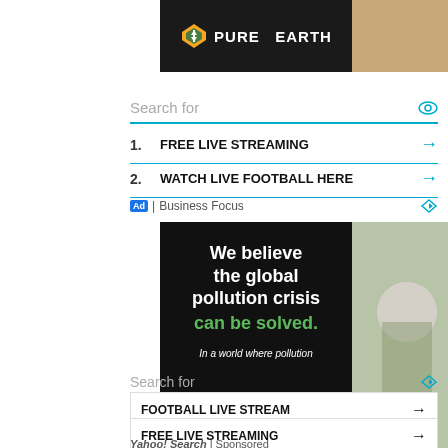[Figure (photo): Pure Earth advertisement banner with logo on black background on the left and a sandy/dirt background photo on the right]
Search for
1. FREE LIVE STREAMING →
2. WATCH LIVE FOOTBALL HERE →
Ad | Business Focus
[Figure (photo): Pure Earth advertisement: 'We believe the global pollution crisis can be solved. In a world where pollution...' with a person in a hard hat holding a plant on the right]
Search for
FOOTBALL LIVE STREAM →
FREE LIVE STREAMING →
Yahoo! Search | Sponsored